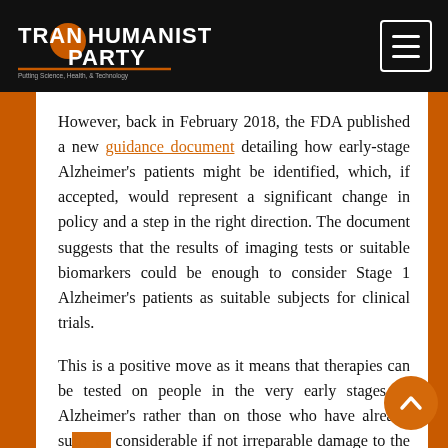Transhumanist Party — Putting Science, Health, & Technology at the Forefront of American Politics
However, back in February 2018, the FDA published a new guidance document detailing how early-stage Alzheimer's patients might be identified, which, if accepted, would represent a significant change in policy and a step in the right direction. The document suggests that the results of imaging tests or suitable biomarkers could be enough to consider Stage 1 Alzheimer's patients as suitable subjects for clinical trials.
This is a positive move as it means that therapies can be tested on people in the very early stages of Alzheimer's rather than on those who have already suffered considerable if not irreparable damage to the brain,